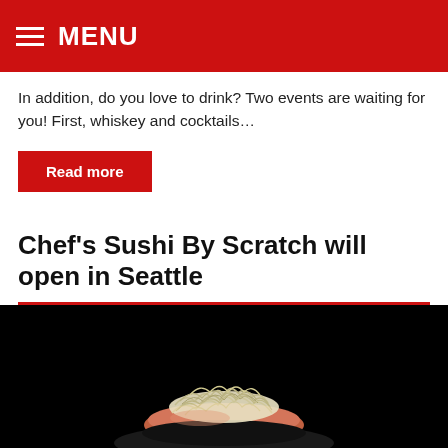MENU
In addition, do you love to drink? Two events are waiting for you! First, whiskey and cocktails…
Read more
Chef's Sushi By Scratch will open in Seattle
[Figure (photo): A piece of sushi topped with shredded daikon or similar white garnish, placed on a dark surface against a black background.]